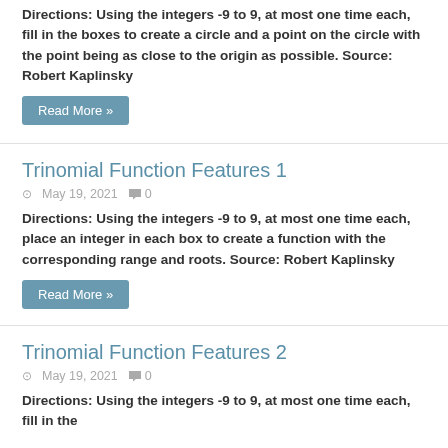Directions: Using the integers -9 to 9, at most one time each, fill in the boxes to create a circle and a point on the circle with the point being as close to the origin as possible. Source: Robert Kaplinsky
Read More »
Trinomial Function Features 1
May 19, 2021   0
Directions: Using the integers -9 to 9, at most one time each, place an integer in each box to create a function with the corresponding range and roots. Source: Robert Kaplinsky
Read More »
Trinomial Function Features 2
May 19, 2021   0
Directions: Using the integers -9 to 9, at most one time each, fill in the